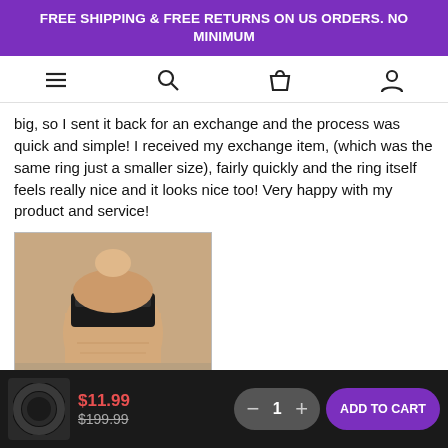FREE SHIPPING & FREE RETURNS ON US ORDERS. NO MINIMUM
big, so I sent it back for an exchange and the process was quick and simple! I received my exchange item, (which was the same ring just a smaller size), fairly quickly and the ring itself feels really nice and it looks nice too! Very happy with my product and service!
[Figure (photo): Photo of a hand wearing a black tungsten carbide wedding band ring on a finger]
Tungsten Carbide Men's Black Brushed Center Wedding Band
$11.99  $199.99  1  ADD TO CART